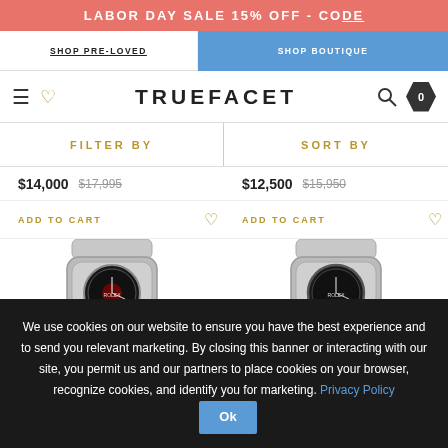LABOR DAY SALE 15% OFF - CODE
SHOP PRE-LOVED
SHOP BOUTIQUE
TRUEFACET
FILTER BY
SORT BY
$14,000   $17,995
$12,500   $15,950
ADD TO CART
ADD TO CART
[Figure (photo): Rolex watch with black dial and steel bracelet, viewed from above]
[Figure (photo): Rolex watch with dark dial and steel bracelet, viewed from above]
We use cookies on our website to ensure you have the best experience and to send you relevant marketing. By closing this banner or interacting with our site, you permit us and our partners to place cookies on your browser, recognize cookies, and identify you for marketing. Privacy Policy  Ok